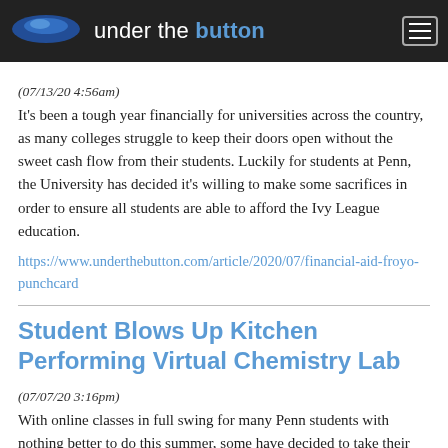under the button
(07/13/20 4:56am)
It’s been a tough year financially for universities across the country, as many colleges struggle to keep their doors open without the sweet cash flow from their students. Luckily for students at Penn, the University has decided it’s willing to make some sacrifices in order to ensure all students are able to afford the Ivy League education.
https://www.underthebutton.com/article/2020/07/financial-aid-froyo-punchcard
Student Blows Up Kitchen Performing Virtual Chemistry Lab
(07/07/20 3:16pm)
 With online classes in full swing for many Penn students with nothing better to do this summer, some have decided to take their